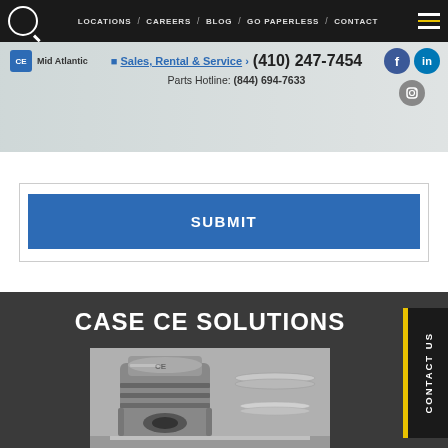LOCATIONS / CAREERS / BLOG / GO PAPERLESS / CONTACT
Sales, Rental & Service › (410) 247-7454
Parts Hotline: (844) 694-7633
SUBMIT
CASE CE SOLUTIONS
[Figure (photo): Engine pistons and gaskets close-up photo]
CONTACT US